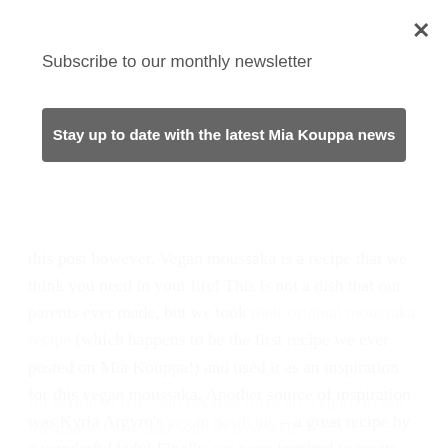Subscribe to our monthly newsletter
Stay up to date with the latest Mia Kouppa news
this post however. Vegan moussaka is a recipe that we think you need in your life! This is not a dish that our parents ever made, but we took their original moussaka recipe (which happens to be the first recipe we ever posted on Mia Kouppa!) and used it as an inspiration for this vegan moussaka. Another source of inspiration was Kyria Argyro's vegan pastichio – a great recipe by a wonderful lady! Finally, we were inspired to create this recipe because it is perfect
for period of lent, and because there are vegans in our life that we love and want to feed well